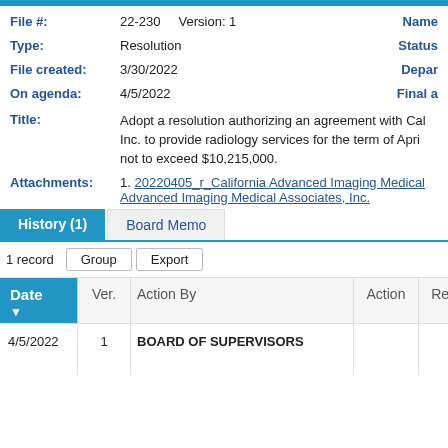File #: 22-230   Version: 1   Name
Type: Resolution   Status
File created: 3/30/2022   Depar
On agenda: 4/5/2022   Final a
Title: Adopt a resolution authorizing an agreement with Cal... Inc. to provide radiology services for the term of Apri... not to exceed $10,215,000.
Attachments: 1. 20220405_r_California Advanced Imaging Medical... Advanced Imaging Medical Associates, Inc.
History (1)
Board Memo
1 record   Group   Export
| Date | Ver. | Action By | Action | Result | Action |
| --- | --- | --- | --- | --- | --- |
| 4/5/2022 | 1 | BOARD OF SUPERVISORS |  |  | Not app |